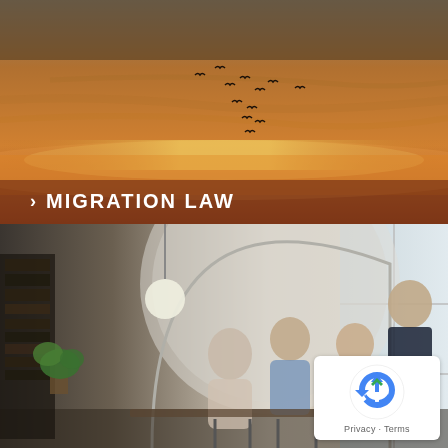[Figure (photo): Sunset sky with birds flying in a V-formation pattern against warm orange and golden clouds]
> MIGRATION LAW
[Figure (photo): A lawyer or consultant standing and speaking to three seated people in a modern office with a circular arch window, plants and bookshelves visible in background]
[Figure (other): Google reCAPTCHA badge with recycling-arrow logo and Privacy and Terms links]